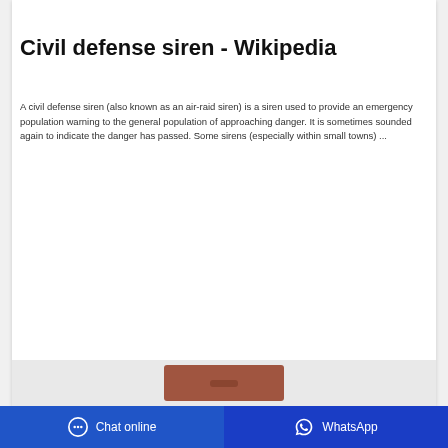[Figure (photo): Partial product image at top of card, brownish/orange toned cards visible]
Civil defense siren - Wikipedia
A civil defense siren (also known as an air-raid siren) is a siren used to provide an emergency population warning to the general population of approaching danger. It is sometimes sounded again to indicate the danger has passed. Some sirens (especially within small towns) ...
[Figure (infographic): Get price button (blue) and WhatsApp button (green) and chat bubble icon (cyan)]
[Figure (photo): Partial product image at bottom showing a brown carrying bag/case]
Chat online   WhatsApp